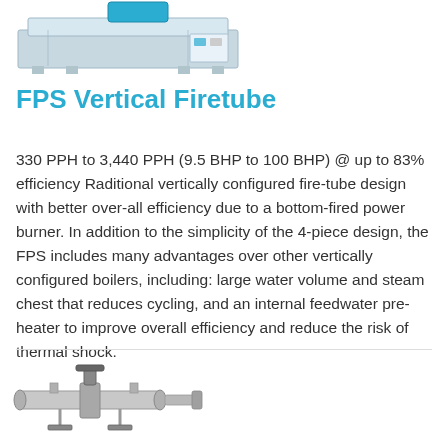[Figure (photo): Photograph of FPS Vertical Firetube boiler unit, top portion visible, stainless steel housing]
FPS Vertical Firetube
330 PPH to 3,440 PPH (9.5 BHP to 100 BHP) @ up to 83% efficiency Raditional vertically configured fire-tube design with better over-all efficiency due to a bottom-fired power burner. In addition to the simplicity of the 4-piece design, the FPS includes many advantages over other vertically configured boilers, including: large water volume and steam chest that reduces cycling, and an internal feedwater pre-heater to improve overall efficiency and reduce the risk of thermal shock.
[Figure (photo): Photograph of mechanical assembly/valve component, bottom portion of page]